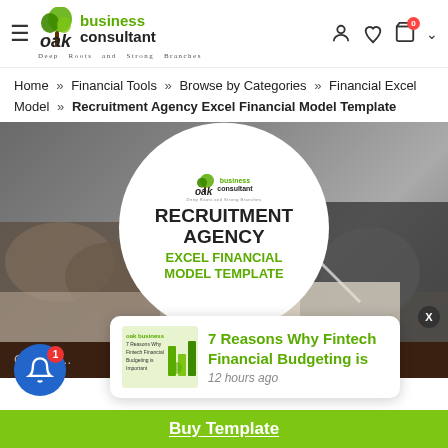Oak Business Consultant — Deep Roots and Strong Branches
Home » Financial Tools » Browse by Categories » Financial Excel Model » Recruitment Agency Excel Financial Model Template
[Figure (photo): Hero promotional image for Recruitment Agency Excel Financial Model Template, showing two people at a desk with a white circular logo overlay containing bold text: RECRUITMENT AGENCY EXCEL FINANCIAL MODEL TEMPLATE]
Get this...
[Figure (photo): Notification popup showing thumbnail of 7 Reasons Why Fintech Financial Budgeting is Important article with text: 7 Reasons Why Fintech Financial Budgeting is — 12 hours ago]
Buy Template